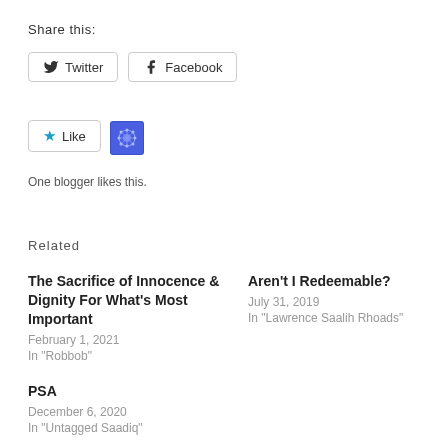Share this:
Twitter  Facebook
Like  [avatar icon]
One blogger likes this.
Related
The Sacrifice of Innocence & Dignity For What's Most Important
February 1, 2021
In "Robbob"
Aren't I Redeemable?
July 31, 2019
In "Lawrence Saalih Rhoads"
PSA
December 6, 2020
In "Untagged Saadiq"